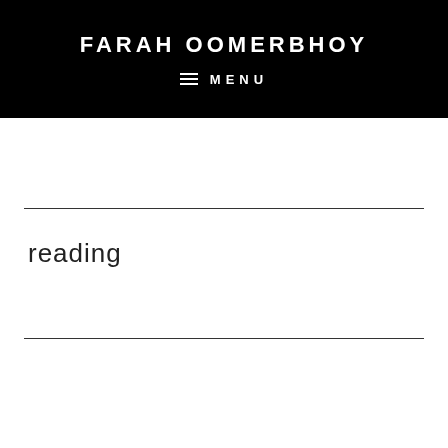FARAH OOMERBHOY
≡  MENU
reading
AUG 07 2016